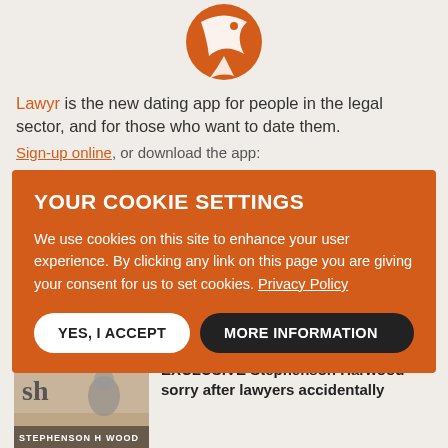[Figure (logo): Orange circular logo with white bird/arrow shape for Lawyr dating app]
Lawyr is the new dating app for people in the legal sector, and for those who want to date them.
Sign-up online, or download the app:
YOUR COOKIE SETTINGS
We use cookies on this site to enhance your user experience. By clicking any link on this page you are giving your consent for us to set cookies. Privacy Policy
YES, I ACCEPT | MORE INFORMATION
This Week's News
[Figure (photo): Stephenson Harwood law firm logo and person photo]
EXCLUSIVE Stephenson Harwood sorry after lawyers accidentally